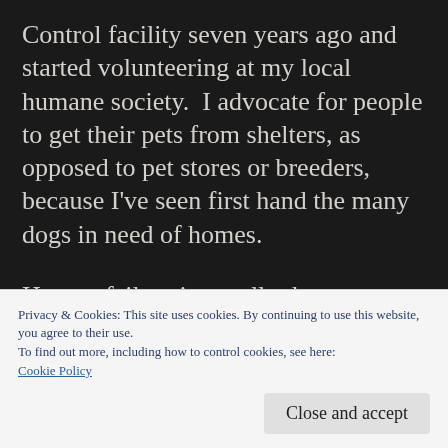Control facility seven years ago and started volunteering at my local humane society.  I advocate for people to get their pets from shelters, as opposed to pet stores or breeders, because I've seen first hand the many dogs in need of homes.
Human failure is usually the reason these innocent babies end up in shelters and the reason for these dogs' pain, so humans should be the reason they are saved. We owe them
Privacy & Cookies: This site uses cookies. By continuing to use this website, you agree to their use.
To find out more, including how to control cookies, see here:
Cookie Policy
Close and accept